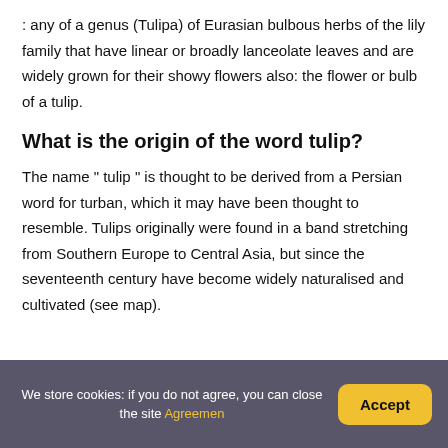: any of a genus (Tulipa) of Eurasian bulbous herbs of the lily family that have linear or broadly lanceolate leaves and are widely grown for their showy flowers also: the flower or bulb of a tulip.
What is the origin of the word tulip?
The name " tulip " is thought to be derived from a Persian word for turban, which it may have been thought to resemble. Tulips originally were found in a band stretching from Southern Europe to Central Asia, but since the seventeenth century have become widely naturalised and cultivated (see map).
We store cookies: if you do not agree, you can close the site Agreemen